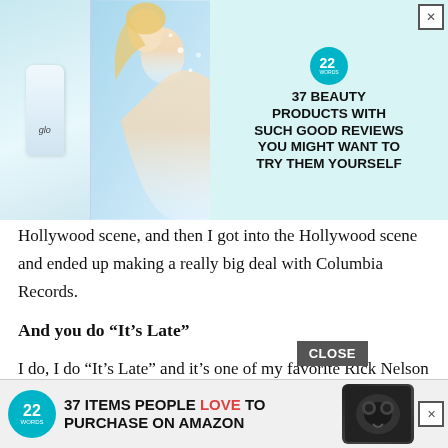[Figure (photo): Advertisement banner at top: beauty products ad with 'glo' bottle image, woman blowing glitter, teal background. Badge showing 22 WORDS. Headline: 37 BEAUTY PRODUCTS WITH SUCH GOOD REVIEWS YOU MIGHT WANT TO TRY THEM YOURSELF. Close X button top right.]
s time. We'd cut spent a lot of t older playing A, before the Hollywood scene, and then I got into the Hollywood scene and ended up making a really big deal with Columbia Records.
And you do “It’s Late”
I do, I do “It’s Late” and it’s one of my favorite Rick Nelson records. I got to know Rick in that era of music and I still work a lot in Europe with James Burton, the guitar player, who is one of my favorites. He played on that track and he played on my first record in 1960. He’s such an innovative guitar player that the guitar playing on that stuff is ridiculous. I’ve just always wanted to cut that. I did a live album a few years ago and I put that on there but I’ve never done it on a real record. It’s funny some movie wanted
[Figure (other): CLOSE button overlay and bottom advertisement: 37 ITEMS PEOPLE LOVE TO PURCHASE ON AMAZON. Badge 22 WORDS. Wireless earbuds product image. Close X button.]